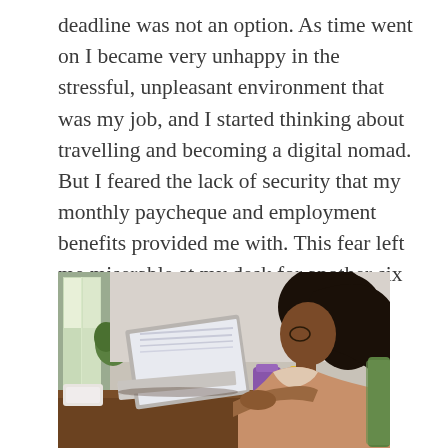deadline was not an option. As time went on I became very unhappy in the stressful, unpleasant environment that was my job, and I started thinking about travelling and becoming a digital nomad. But I feared the lack of security that my monthly paycheque and employment benefits provided me with. This fear left me miserable at my desk for another six months.
[Figure (photo): A young woman with dark curly hair sitting at a wooden desk working on a laptop computer. The setting appears to be a tropical or outdoor café environment with natural light coming from the left. There is a purple object and a yellow container visible on the desk in the background.]